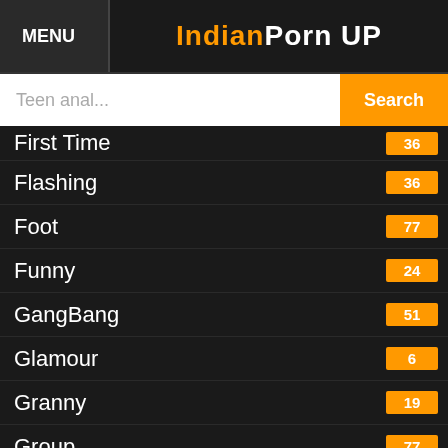MENU | IndianPorn UP
Teen anal... Search
First Time 36
Flashing 36
Foot 77
Funny 24
GangBang 51
Glamour 6
Granny 19
Group 77
Hairy 171
Handjob 161
Hardcore 1115